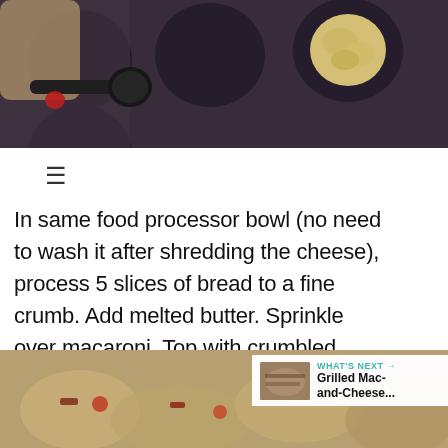[Figure (photo): Muffin tin with mac and cheese being scooped in, dark background]
In same food processor bowl (no need to wash it after shredding the cheese), process 5 slices of bread to a fine crumb. Add melted butter. Sprinkle over macaroni. Top with crumbled bacon and a cherry tomato slice (optional).
[Figure (photo): Baked mac and cheese bites with bacon and tomato toppings, close-up]
WHAT'S NEXT → Grilled Mac-and-Cheese...